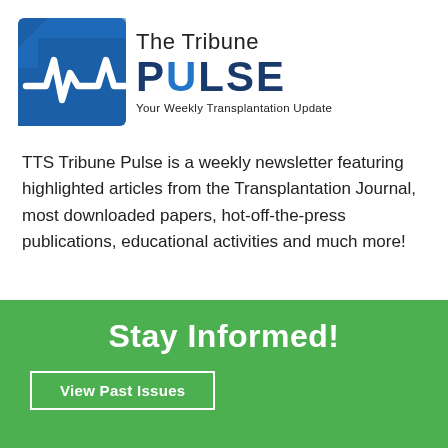[Figure (logo): The Tribune Pulse logo — blue square icon with white pulse/heartbeat waveform on left, 'The Tribune' text above 'PULSE' in dark navy/blue bold letters, tagline 'Your Weekly Transplantation Update' below]
TTS Tribune Pulse is a weekly newsletter featuring highlighted articles from the Transplantation Journal, most downloaded papers, hot-off-the-press publications, educational activities and much more!
Stay Informed!
View Past Issues